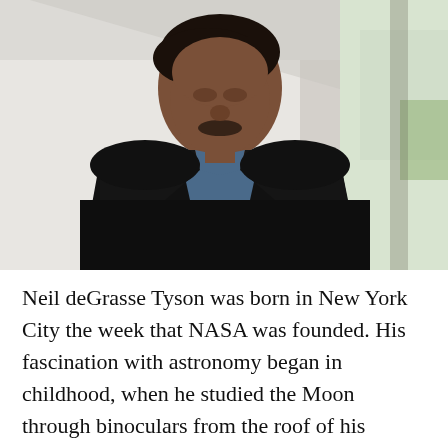[Figure (photo): Portrait photograph of Neil deGrasse Tyson, a man in a black blazer and blue collared shirt, standing against a white wall with a bright windowed corridor visible in the background.]
Neil deGrasse Tyson was born in New York City the week that NASA was founded. His fascination with astronomy began in childhood, when he studied the Moon through binoculars from the roof of his apartment building. At age 9 he was introduced to the